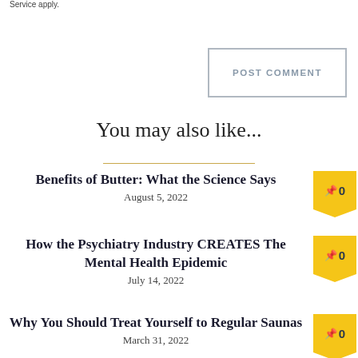Service apply.
POST COMMENT
You may also like...
Benefits of Butter: What the Science Says
August 5, 2022
How the Psychiatry Industry CREATES The Mental Health Epidemic
July 14, 2022
Why You Should Treat Yourself to Regular Saunas
March 31, 2022